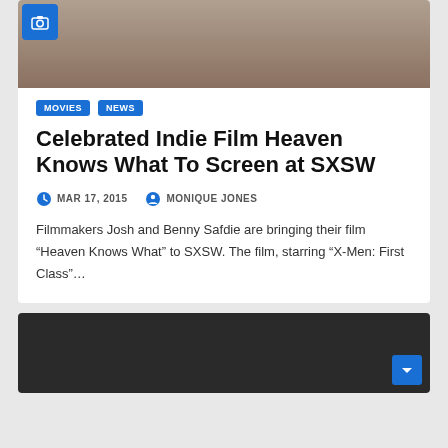[Figure (photo): Close-up photo of a person, partially cropped, with a camera icon overlay in the top-left corner]
MOVIES  NEWS
Celebrated Indie Film Heaven Knows What To Screen at SXSW
MAR 17, 2015   MONIQUE JONES
Filmmakers Josh and Benny Safdie are bringing their film “Heaven Knows What” to SXSW. The film, starring “X-Men: First Class”…
[Figure (photo): Dark/black image at the bottom of the page, partially visible, second article card]